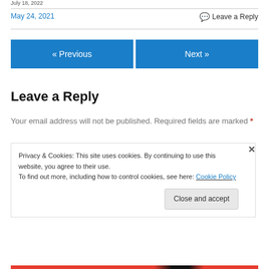July 18, 2022
May 24, 2021
Leave a Reply
« Previous
Next »
Leave a Reply
Your email address will not be published. Required fields are marked *
Privacy & Cookies: This site uses cookies. By continuing to use this website, you agree to their use.
To find out more, including how to control cookies, see here: Cookie Policy
Close and accept